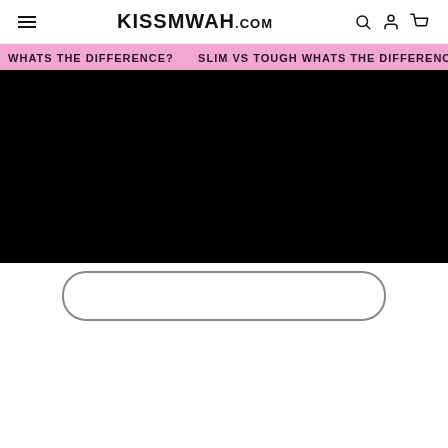KISSMWAH.COM
WHATS THE DIFFERENCE? SLIM VS TOUGH WHATS THE DIFFERENCE?
[Figure (screenshot): Black video player area embedded on the page]
[Figure (screenshot): White area with partially visible rounded rectangle button at bottom]